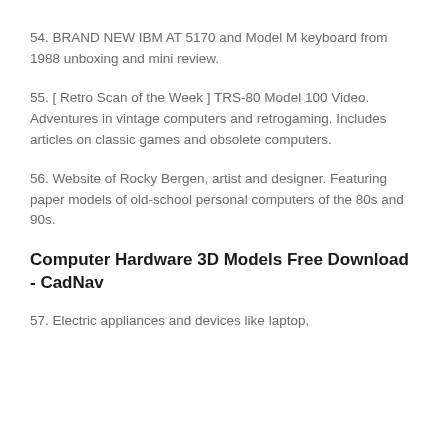54. BRAND NEW IBM AT 5170 and Model M keyboard from 1988 unboxing and mini review.
55. [ Retro Scan of the Week ] TRS-80 Model 100 Video. Adventures in vintage computers and retrogaming. Includes articles on classic games and obsolete computers.
56. Website of Rocky Bergen, artist and designer. Featuring paper models of old-school personal computers of the 80s and 90s.
Computer Hardware 3D Models Free Download - CadNav
57. Electric appliances and devices like laptop,